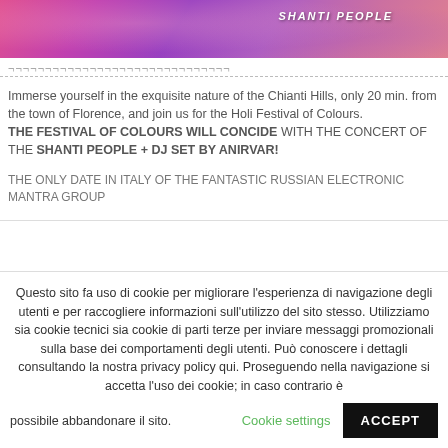[Figure (photo): Pink and purple Holi festival crowd with SHANTI PEOPLE text overlay banner image]
¬¬¬¬¬¬¬¬¬¬¬¬¬¬¬¬¬¬¬¬¬¬¬¬¬¬¬
Immerse yourself in the exquisite nature of the Chianti Hills, only 20 min. from the town of Florence, and join us for the Holi Festival of Colours. THE FESTIVAL OF COLOURS WILL CONCIDE with the concert of the SHANTI PEOPLE + Dj set by Anirvar!
THE ONLY DATE IN ITALY OF THE FANTASTIC RUSSIAN ELECTRONIC MANTRA GROUP
Questo sito fa uso di cookie per migliorare l'esperienza di navigazione degli utenti e per raccogliere informazioni sull'utilizzo del sito stesso. Utilizziamo sia cookie tecnici sia cookie di parti terze per inviare messaggi promozionali sulla base dei comportamenti degli utenti. Può conoscere i dettagli consultando la nostra privacy policy qui. Proseguendo nella navigazione si accetta l'uso dei cookie; in caso contrario è possibile abbandonare il sito.
Cookie settings
ACCEPT